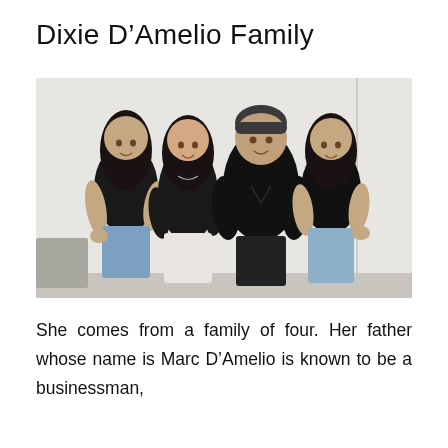Dixie D'Amelio Family
[Figure (photo): Family photo of four people (two young women, a woman, and a man) all wearing black outfits, posed together in front of a light background.]
She comes from a family of four. Her father whose name is Marc D'Amelio is known to be a businessman,